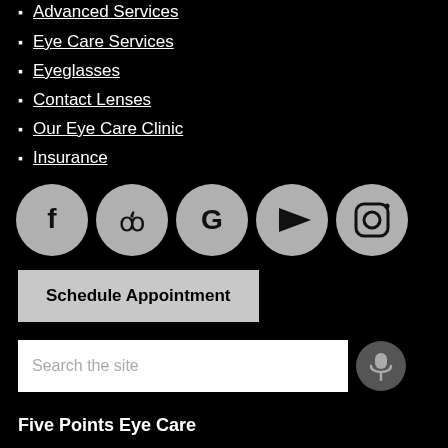Advanced Services
Eye Care Services
Eyeglasses
Contact Lenses
Our Eye Care Clinic
Insurance
[Figure (infographic): Five social media icon circles in a row: Facebook, Yelp, Google, YouTube, Instagram]
Schedule Appointment
Search the site
Five Points Eye Care